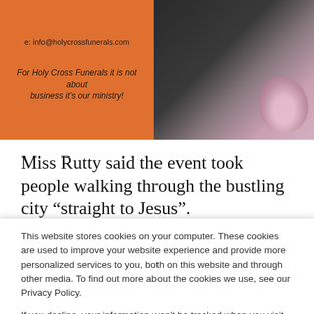[Figure (photo): Holy Cross Funerals advertisement banner showing orange background with email address and tagline, alongside a photo of a person in a dark suit holding flowers]
Miss Rutty said the event took people walking through the bustling city “straight to Jesus”.
“Some people might have walked past the
This website stores cookies on your computer. These cookies are used to improve your website experience and provide more personalized services to you, both on this website and through other media. To find out more about the cookies we use, see our Privacy Policy.
If you decline, your information won’t be tracked when you visit this website. A single cookie will be used in your browser to remember your preference not to be tracked.